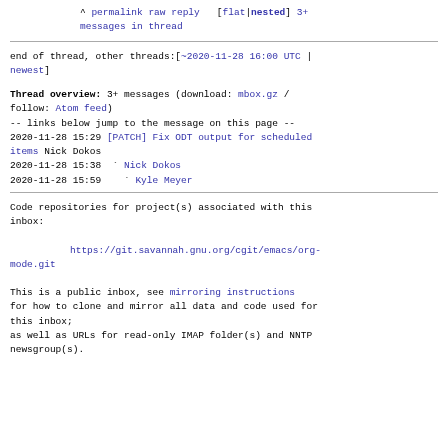^ permalink raw reply [flat|nested] 3+ messages in thread
end of thread, other threads:[~2020-11-28 16:00 UTC | newest]
Thread overview: 3+ messages (download: mbox.gz / follow: Atom feed)
-- links below jump to the message on this page --
2020-11-28 15:29 [PATCH] Fix ODT output for scheduled items Nick Dokos
2020-11-28 15:38 ` Nick Dokos
2020-11-28 15:59   ` Kyle Meyer
Code repositories for project(s) associated with this inbox:

    https://git.savannah.gnu.org/cgit/emacs/org-mode.git
This is a public inbox, see mirroring instructions for how to clone and mirror all data and code used for this inbox; as well as URLs for read-only IMAP folder(s) and NNTP newsgroup(s).